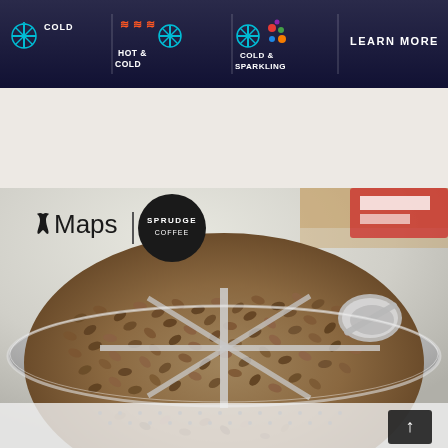[Figure (photo): Top advertisement banner showing cold water dispenser features: icons for COLD, HOT & COLD, COLD & SPARKLING, with LEARN MORE call to action on dark navy background]
[Figure (photo): Apple Maps | Sprudge co-branded image overlaid on a photograph of coffee beans in a silver roasting drum/cooling tray with stirring arms and a scoop. The Apple Maps logo appears top-left with the Sprudge logo in a black circle. A scroll-to-top button appears bottom-right.]